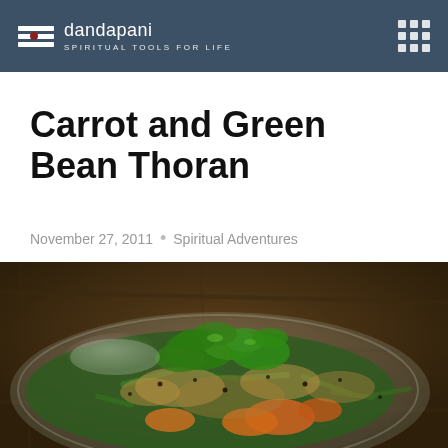dandapani — SPIRITUAL TOOLS FOR LIFE
Carrot and Green Bean Thoran
November 27, 2011 • Spiritual Adventures
[Figure (photo): A plate of Carrot and Green Bean Thoran — a South Indian stir-fried dish featuring green beans, orange carrots, and grated coconut, garnished with fresh cilantro/coriander leaves, served on a glass plate on a wooden table.]